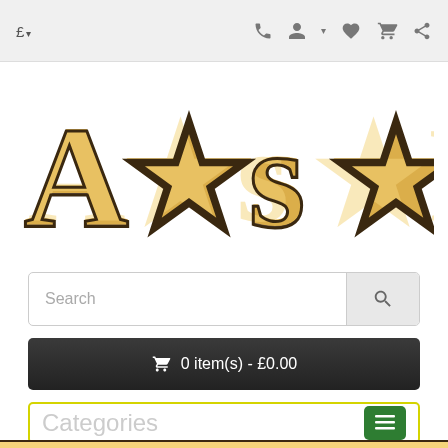£ ▾  [phone] [account] [wishlist] [cart] [share]
[Figure (logo): Decorative wood-textured western-style logo letters with stars]
Search
🛒 0 item(s) - £0.00
Categories
[Figure (illustration): Bottom partial decorative wood-textured logo strip]